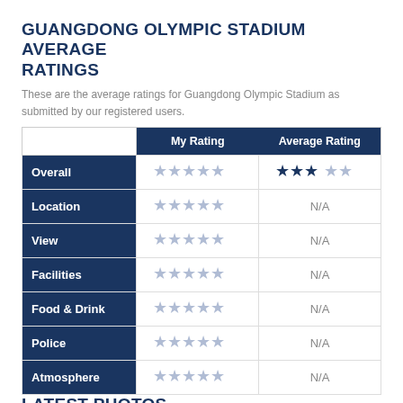GUANGDONG OLYMPIC STADIUM AVERAGE RATINGS
These are the average ratings for Guangdong Olympic Stadium as submitted by our registered users.
|  | My Rating | Average Rating |
| --- | --- | --- |
| Overall | ☆☆☆☆☆ | ★★★☆☆ |
| Location | ☆☆☆☆☆ | N/A |
| View | ☆☆☆☆☆ | N/A |
| Facilities | ☆☆☆☆☆ | N/A |
| Food & Drink | ☆☆☆☆☆ | N/A |
| Police | ☆☆☆☆☆ | N/A |
| Atmosphere | ☆☆☆☆☆ | N/A |
LATEST PHOTOS